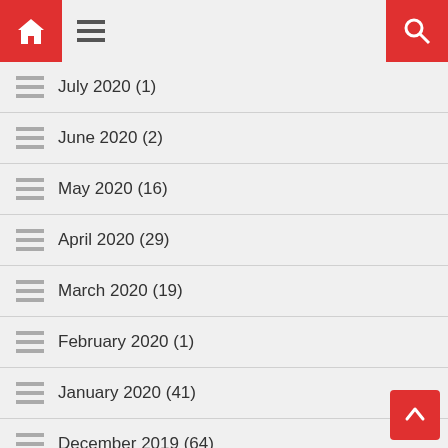Navigation header with home, menu, and search buttons
July 2020 (1)
June 2020 (2)
May 2020 (16)
April 2020 (29)
March 2020 (19)
February 2020 (1)
January 2020 (41)
December 2019 (64)
November 2019 (39)
October 2019 (12)